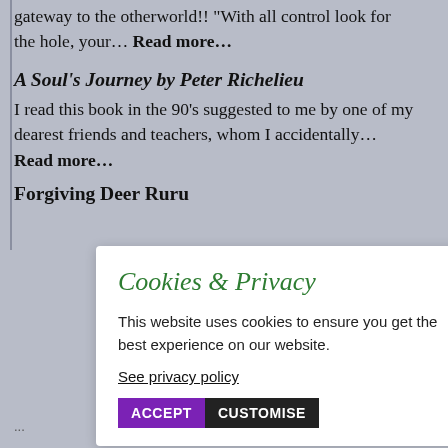gateway to the otherworld!! “With all control look for the hole, your… Read more…
A Soul’s Journey by Peter Richelieu
I read this book in the 90’s suggested to me by one of my dearest friends and teachers, whom I accidentally… Read more…
Forgiving Deer Ruru
Cookies & Privacy
This website uses cookies to ensure you get the best experience on our website.
See privacy policy
ACCEPT   CUSTOMISE